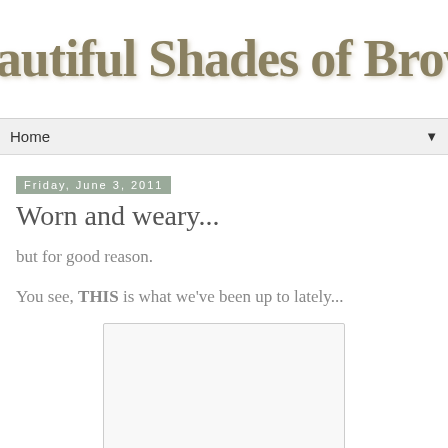Beautiful Shades of Brown
Home ▼
Friday, June 3, 2011
Worn and weary...
but for good reason.
You see, THIS is what we've been up to lately...
[Figure (photo): Blank/white image placeholder box]